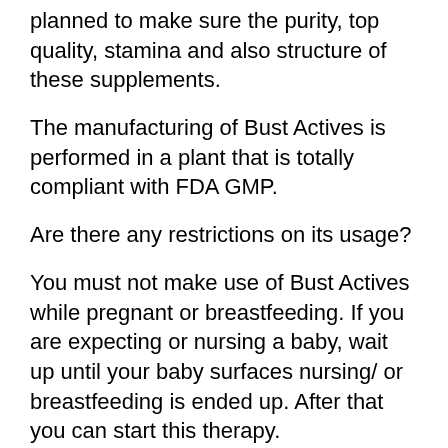planned to make sure the purity, top quality, stamina and also structure of these supplements.
The manufacturing of Bust Actives is performed in a plant that is totally compliant with FDA GMP.
Are there any restrictions on its usage?
You must not make use of Bust Actives while pregnant or breastfeeding. If you are expecting or nursing a baby, wait up until your baby surfaces nursing/ or breastfeeding is ended up. After that you can start this therapy.
If you have pre-existing health problems,